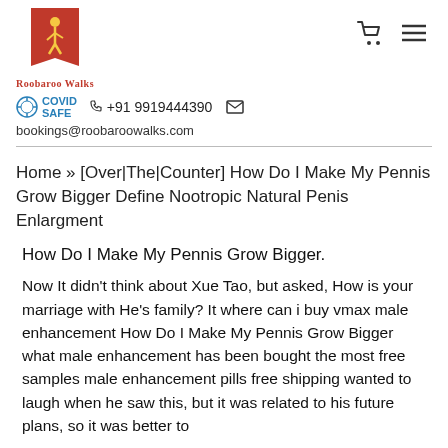[Figure (logo): Roobaroo Walks logo - red banner with walking figure illustration]
COVID SAFE  +91 9919444390  bookings@roobaroowalks.com
Home » [Over|The|Counter] How Do I Make My Pennis Grow Bigger Define Nootropic Natural Penis Enlargment
How Do I Make My Pennis Grow Bigger.
Now It didn't think about Xue Tao, but asked, How is your marriage with He's family? It where can i buy vmax male enhancement How Do I Make My Pennis Grow Bigger what male enhancement has been bought the most free samples male enhancement pills free shipping wanted to laugh when he saw this, but it was related to his future plans, so it was better to